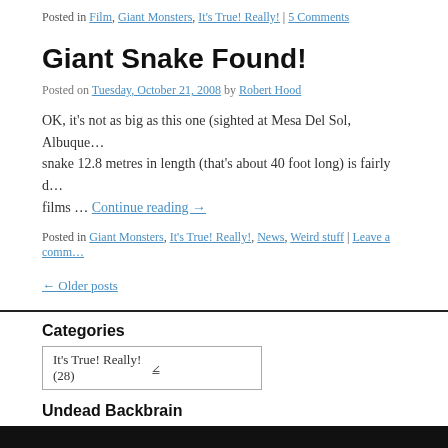Posted in Film, Giant Monsters, It's True! Really! | 5 Comments
Giant Snake Found!
Posted on Tuesday, October 21, 2008 by Robert Hood
OK, it's not as big as this one (sighted at Mesa Del Sol, Albuque… snake 12.8 metres in length (that's about 40 foot long) is fairly d… films … Continue reading →
Posted in Giant Monsters, It's True! Really!, News, Weird stuff | Leave a comm…
← Older posts
Categories
It's True!  Really!  (28)
Undead Backbrain